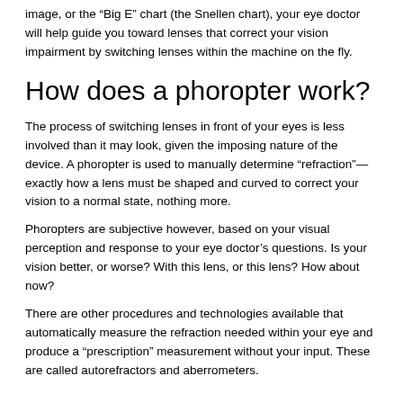image, or the “Big E” chart (the Snellen chart), your eye doctor will help guide you toward lenses that correct your vision impairment by switching lenses within the machine on the fly.
How does a phoropter work?
The process of switching lenses in front of your eyes is less involved than it may look, given the imposing nature of the device. A phoropter is used to manually determine “refraction”—exactly how a lens must be shaped and curved to correct your vision to a normal state, nothing more.
Phoropters are subjective however, based on your visual perception and response to your eye doctor’s questions. Is your vision better, or worse? With this lens, or this lens? How about now?
There are other procedures and technologies available that automatically measure the refraction needed within your eye and produce a “prescription” measurement without your input. These are called autorefractors and aberrometers.